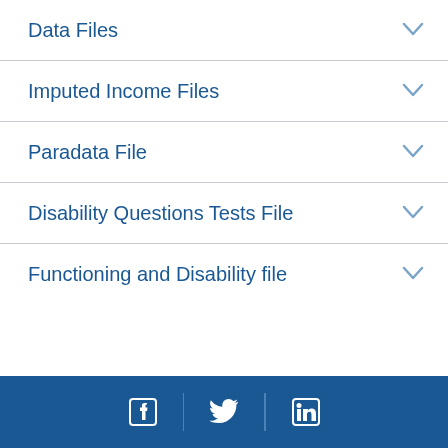Data Files
Imputed Income Files
Paradata File
Disability Questions Tests File
Functioning and Disability file
Facebook | Twitter | LinkedIn